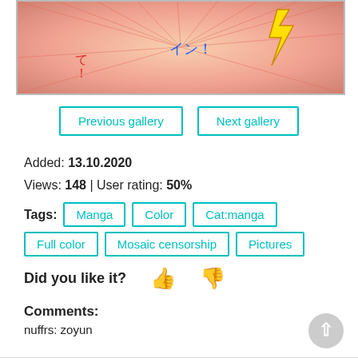[Figure (illustration): Manga/comic panel with action scene, Japanese text, colorful art with speed lines]
Previous gallery
Next gallery
Added: 13.10.2020
Views: 148 | User rating: 50%
Tags: Manga  Color  Cat:manga  Full color  Mosaic censorship  Pictures
Did you like it?
Comments:
nuffrs: zoyun